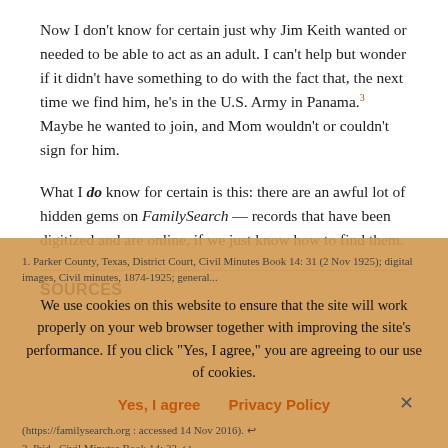Now I don't know for certain just why Jim Keith wanted or needed to be able to act as an adult. I can't help but wonder if it didn't have something to do with the fact that, the next time we find him, he's in the U.S. Army in Panama.³ Maybe he wanted to join, and Mom wouldn't or couldn't sign for him.
What I do know for certain is this: there are an awful lot of hidden gems on FamilySearch — records that have been digitized and are online, if we just know how to find them.
SOURCES
1. Parker County, Texas, District Court, Civil Minutes Book 14: 31 (2 Nov 1925); digital images, Civil minutes, 1874-1925; general... page... (https://familysearch.org : accessed 14 Nov 2016). ↩
We use cookies on this website to ensure that the site will work properly on your web browser together with improving the site's performance. If you click "Yes, I agree," you are agreeing to our use of cookies.
2. Ibid., Civil Minutes Book 14: 32. ↩